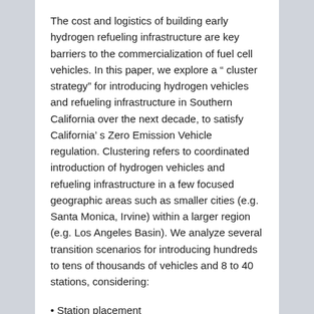The cost and logistics of building early hydrogen refueling infrastructure are key barriers to the commercialization of fuel cell vehicles. In this paper, we explore a “ cluster strategy” for introducing hydrogen vehicles and refueling infrastructure in Southern California over the next decade, to satisfy California’ s Zero Emission Vehicle regulation. Clustering refers to coordinated introduction of hydrogen vehicles and refueling infrastructure in a few focused geographic areas such as smaller cities (e.g. Santa Monica, Irvine) within a larger region (e.g. Los Angeles Basin). We analyze several transition scenarios for introducing hundreds to tens of thousands of vehicles and 8 to 40 stations, considering:
Station placement
Convenience of the refueling network